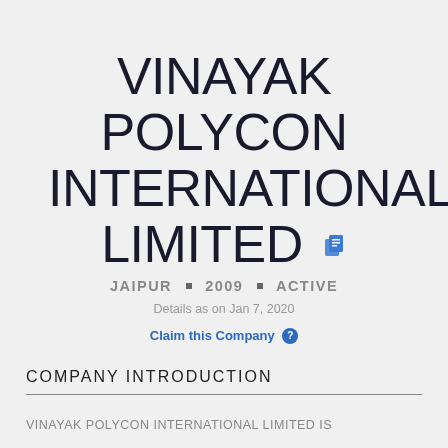VINAYAK POLYCON INTERNATIONAL LIMITED
JAIPUR ■ 2009 ■ ACTIVE
Details as on Jan 7, 2020
Claim this Company ?
COMPANY INTRODUCTION
VINAYAK POLYCON INTERNATIONAL LIMITED is